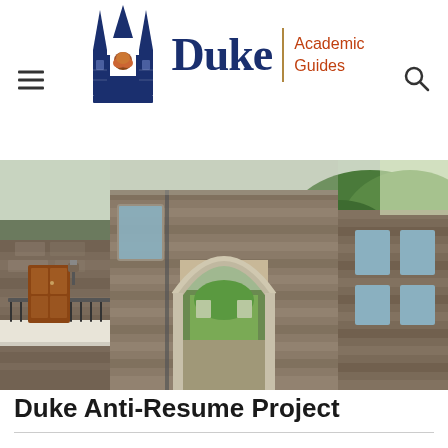Duke Academic Guides
[Figure (photo): Gothic stone archway at Duke University campus, showing a pointed arch passage through a stone building with green trees visible beyond and to the right, brown wooden door visible to the left]
Duke Anti-Resume Project